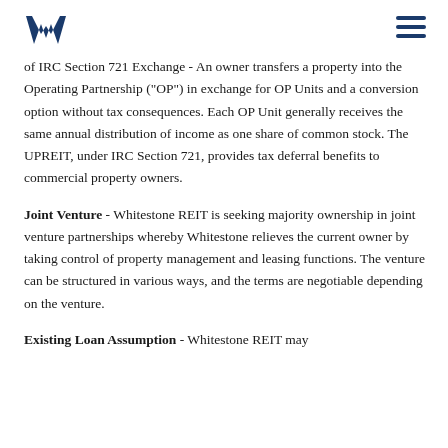Whitestone REIT logo and navigation
of IRC Section 721 Exchange - An owner transfers a property into the Operating Partnership ("OP") in exchange for OP Units and a conversion option without tax consequences. Each OP Unit generally receives the same annual distribution of income as one share of common stock. The UPREIT, under IRC Section 721, provides tax deferral benefits to commercial property owners.
Joint Venture - Whitestone REIT is seeking majority ownership in joint venture partnerships whereby Whitestone relieves the current owner by taking control of property management and leasing functions. The venture can be structured in various ways, and the terms are negotiable depending on the venture.
Existing Loan Assumption - Whitestone REIT may